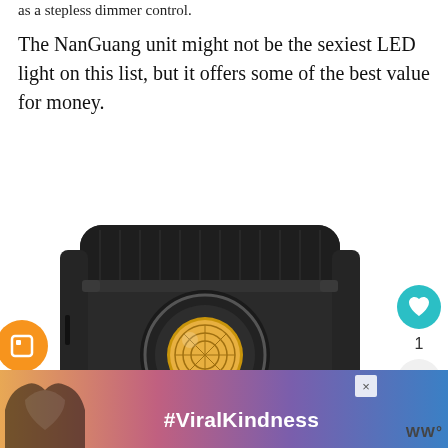as a stepless dimmer control.
The NanGuang unit might not be the sexiest LED light on this list, but it offers some of the best value for money.
[Figure (photo): NanGuang LED light unit — compact square black LED video light with textured body and large COB LED element visible from front angle, photographed on white background]
[Figure (other): Social sidebar with heart/like button showing count of 1, and share button]
[Figure (other): What's Next promo box showing 4K camera thumbnail with text 'Which cameras sh...']
[Figure (other): Advertisement banner with sunset background, hands forming heart silhouette, #ViralKindness hashtag, and WW logo]